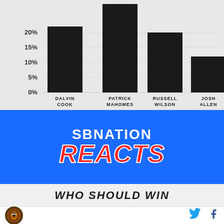[Figure (bar-chart): ]
[Figure (logo): SBNation Reacts logo banner - blue background with SBNATION in white and REACTS in red italic text]
WHO SHOULD WIN
[Figure (logo): Cleveland Browns helmet logo circle]